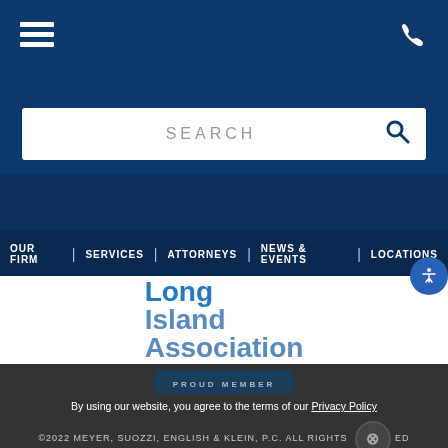[Figure (screenshot): Navigation bar with hamburger menu icon on left and phone icon on right, dark navy background]
[Figure (screenshot): Search bar with SEARCH placeholder text and search icon on white background]
[Figure (screenshot): Navigation menu with links: OUR FIRM, SERVICES, ATTORNEYS, NEWS & EVENTS, LOCATIONS on dark navy background]
[Figure (logo): Long Island Association logo with bold blue text]
PROUD MEMBER | By using our website, you agree to the terms of our Privacy Policy | ©2022 MEYER, SUOZZI, ENGLISH & KLEIN, P.C. ALL RIGHTS RESERVED | ATTORNEY ADVERTISING | DISCLAIMER |